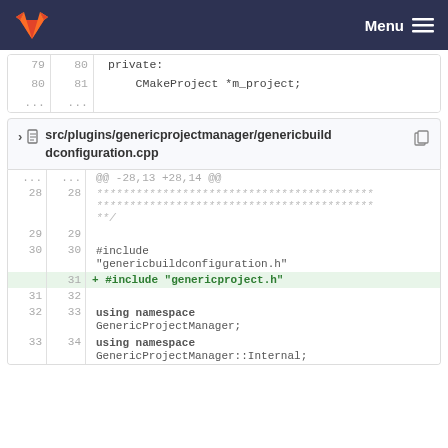GitLab Menu
| old | new | code |
| --- | --- | --- |
| 79 | 80 | private: |
| 80 | 81 |     CMakeProject *m_project; |
| ... | ... |  |
src/plugins/genericprojectmanager/genericbuildconfiguration.cpp
| old | new | code |
| --- | --- | --- |
| ... | ... | @@ -28,13 +28,14 @@ |
| 28 | 28 | ****************************************** |
|  |  | ****************************************** |
|  |  | **/ |
| 29 | 29 |  |
| 30 | 30 | #include "genericbuildconfiguration.h" |
|  | 31 | + #include "genericproject.h" |
| 31 | 32 |  |
| 32 | 33 | using namespace GenericProjectManager; |
| 33 | 34 | using namespace GenericProjectManager::Internal; |